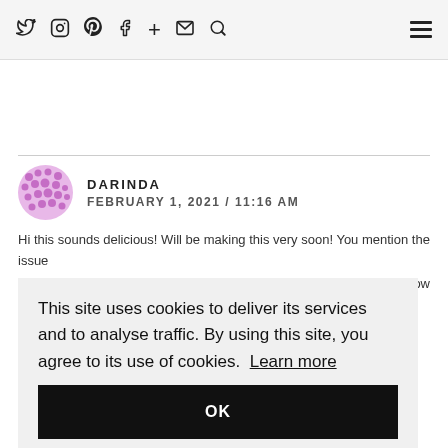Twitter Instagram Pinterest Facebook + Email Search [hamburger menu]
DARINDA
FEBRUARY 1, 2021 / 11:16 AM
Hi this sounds delicious! Will be making this very soon! You mention the issue
ow
This site uses cookies to deliver its services and to analyse traffic. By using this site, you agree to its use of cookies. Learn more
OK
Haha, oh my!! Proof reading missed that one! It's 25g added with the dry